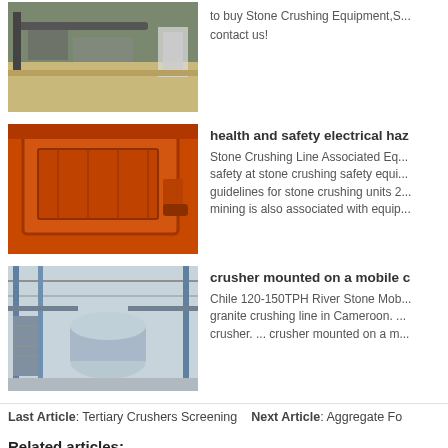[Figure (photo): Stone crushing equipment outdoors, machinery with conveyor belt]
to buy Stone Crushing Equipment,S... contact us!
[Figure (photo): Large orange impact crusher machine]
health and safety electrical haz
Stone Crushing Line Associated Eq... safety at stone crushing safety equi... guidelines for stone crushing units 2... mining is also associated with equip...
[Figure (photo): Industrial plant interior with large cylindrical drum and steel framework]
crusher mounted on a mobile c
Chile 120-150TPH River Stone Mob... granite crushing line in Cameroon. ... crusher. ... crusher mounted on a m...
Last Article: Tertiary Crushers Screening   Next Article: Aggregate Fo
Related articles:
...table vibration...